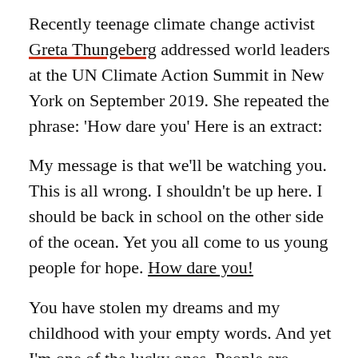Recently teenage climate change activist Greta Thungeberg addressed world leaders at the UN Climate Action Summit in New York on September 2019. She repeated the phrase: 'How dare you' Here is an extract:
My message is that we'll be watching you. This is all wrong. I shouldn't be up here. I should be back in school on the other side of the ocean. Yet you all come to us young people for hope. How dare you!
You have stolen my dreams and my childhood with your empty words. And yet I'm one of the lucky ones. People are suffering. People are dying. Entire ecosystems are collapsing. We are in the beginning of a mass extinction, and all you can talk about is...